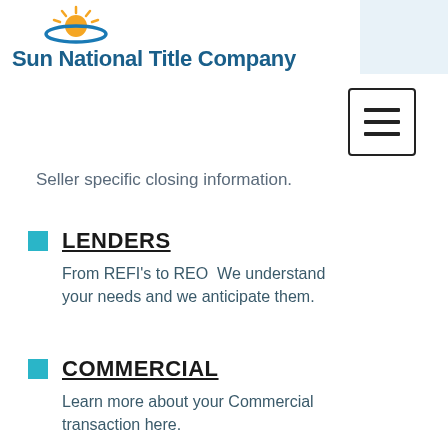[Figure (logo): Sun National Title Company logo with sun icon and blue swoosh, company name in dark blue bold text]
[Figure (screenshot): Light blue rectangle in top right corner (navigation placeholder)]
[Figure (other): Hamburger menu button (three horizontal bars) in a square border]
Seller specific closing information.
LENDERS
From REFI's to REO  We understand your needs and we anticipate them.
COMMERCIAL
Learn more about your Commercial transaction here.